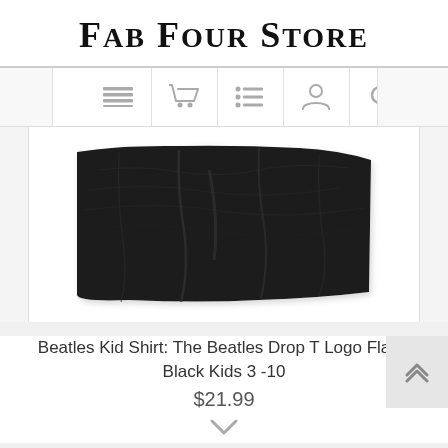Fab Four Store
[Figure (screenshot): Navigation bar with icons: hamburger menu, shopping cart, list/settings, user profile, and search icons]
[Figure (photo): Black fabric item (Beatles Kid Shirt: The Beatles Drop T Logo Flag) laid flat against white background]
Beatles Kid Shirt: The Beatles Drop T Logo Flag - Black Kids 3 -10
$21.99